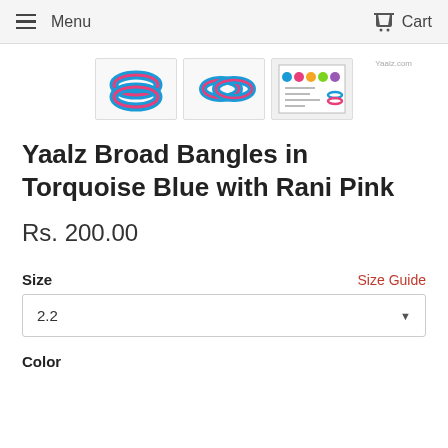Menu   Cart
[Figure (photo): Three product thumbnail images of colorful bangles (torquoise blue with rani pink). First thumbnail shows two stacked bangles, second shows two bangles from the side, third shows a product sheet/color chart.]
Yaalz Broad Bangles in Torquoise Blue with Rani Pink
Rs. 200.00
Size    Size Guide
2.2
Color